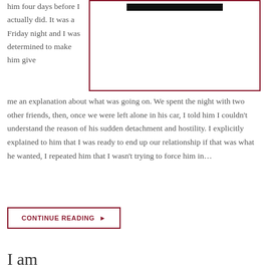him four days before I actually did. It was a Friday night and I was determined to make him give
[Figure (photo): Image placeholder with dark banner at top, surrounded by dark red/maroon border]
me an explanation about what was going on. We spent the night with two other friends, then, once we were left alone in his car, I told him I couldn't understand the reason of his sudden detachment and hostility. I explicitly explained to him that I was ready to end up our relationship if that was what he wanted, I repeated him that I wasn't trying to force him in…
CONTINUE READING ▶
I am